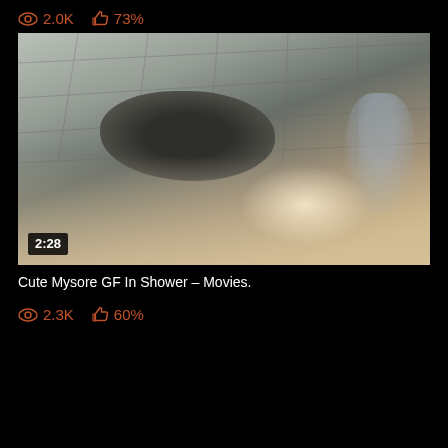2.0K  73%
[Figure (photo): Blurry screenshot of a steamy shower scene, top-down angle, tiled walls visible, dark mass in center, foggy lower half, duration badge showing 2:28]
Cute Mysore GF In Shower – Movies.
2.3K  60%